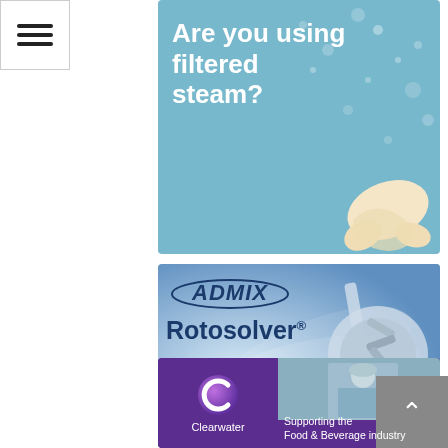[Figure (screenshot): Hamburger menu icon with three horizontal lines]
[Figure (infographic): Advertisement banner: 'Are you using filtered steam?' on light blue background with decorative dots and croissant graphic]
[Figure (infographic): Advertisement banner: ADMIX Rotosolver - Ultimate High Shear Mixer, blue gradient background with mixer equipment photo]
[Figure (infographic): Advertisement banner: Clearwater - Supporting the Food & Beverage industry, purple background with C logo and worker photo]
[Figure (screenshot): Scroll-to-top button with upward arrow on grey background]